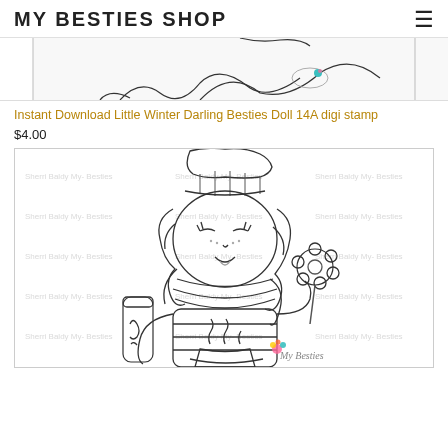MY BESTIES SHOP
[Figure (illustration): Partial view of a coloring page digi stamp at the top of the page, showing line art of a character with curly hair and a hat, partially cropped]
Instant Download Little Winter Darling Besties Doll 14A digi stamp
$4.00
[Figure (illustration): A black and white digi stamp coloring page illustration of a cute chibi-style girl wearing a knit winter hat and scarf, holding a flower lollipop, with hot cocoa/thermos items. Watermark text 'Sherri Baldy My- Besties' repeated throughout. 'My Besties' logo visible at bottom right.]